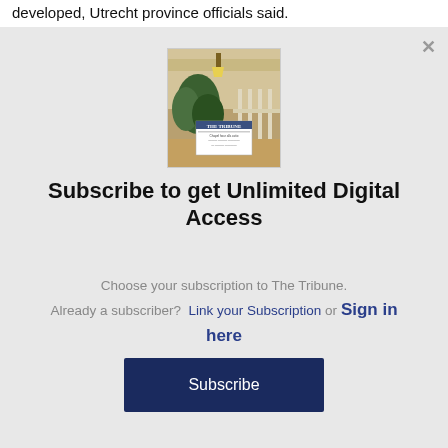developed, Utrecht province officials said.
[Figure (photo): Newspaper 'The Tribune' displayed on a porch with plants and porch railing in background]
Subscribe to get Unlimited Digital Access
Choose your subscription to The Tribune.
Already a subscriber?  Link your Subscription or Sign in here
Subscribe